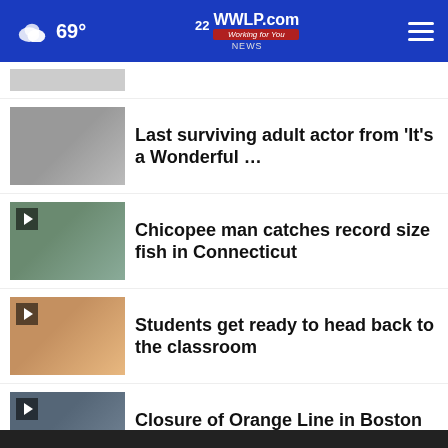22WWLP.com — Working for You | 69°
Last surviving adult actor from 'It's a Wonderful …
Chicopee man catches record size fish in Connecticut
Students get ready to head back to the classroom
Closure of Orange Line in Boston begins
More Stories ›